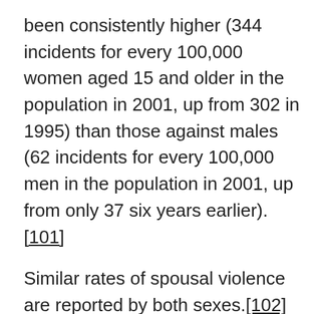been consistently higher (344 incidents for every 100,000 women aged 15 and older in the population in 2001, up from 302 in 1995) than those against males (62 incidents for every 100,000 men in the population in 2001, up from only 37 six years earlier).[101]
Similar rates of spousal violence are reported by both sexes.[102] However, much higher rates of women were sexually assaulted by their spouses (20%), as compared to men (3%).
Spousal violence often includes multiple types of offences committed by a